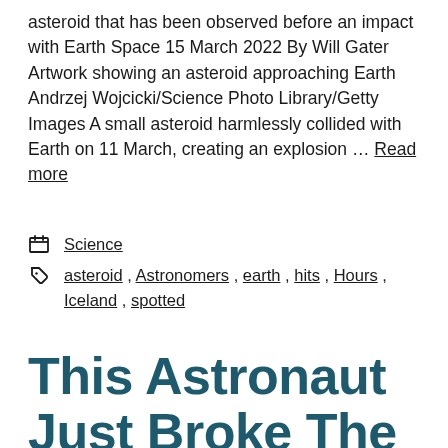asteroid that has been observed before an impact with Earth Space 15 March 2022 By Will Gater Artwork showing an asteroid approaching Earth Andrzej Wojcicki/Science Photo Library/Getty Images A small asteroid harmlessly collided with Earth on 11 March, creating an explosion … Read more
Science
asteroid , Astronomers , earth , hits , Hours , Iceland , spotted
This Astronaut Just Broke The NASA